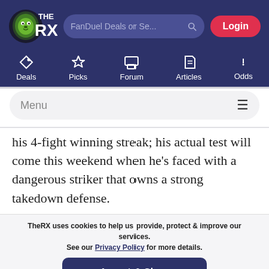[Figure (logo): TheRX logo with lion icon, white text on dark blue background]
[Figure (screenshot): Navigation header with search bar labeled 'FanDuel Deals or Se...' and Login button]
[Figure (infographic): Navigation menu icons: Deals, Picks, Forum, Articles, Odds]
Menu
his 4-fight winning streak; his actual test will come this weekend when he's faced with a dangerous striker that owns a strong takedown defense.
TheRX uses cookies to help us provide, protect & improve our services. See our Privacy Policy for more details.
Accept & Close